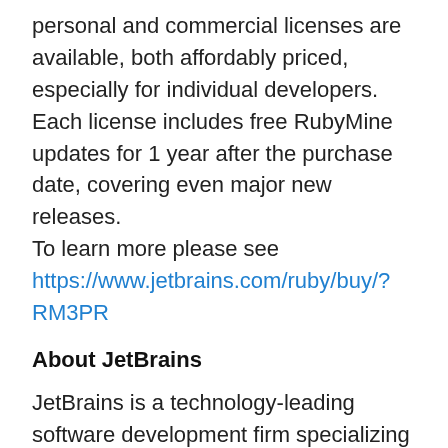personal and commercial licenses are available, both affordably priced, especially for individual developers. Each license includes free RubyMine updates for 1 year after the purchase date, covering even major new releases. To learn more please see https://www.jetbrains.com/ruby/buy/?RM3PR
About JetBrains
JetBrains is a technology-leading software development firm specializing in the creation of intelligent, productivity-